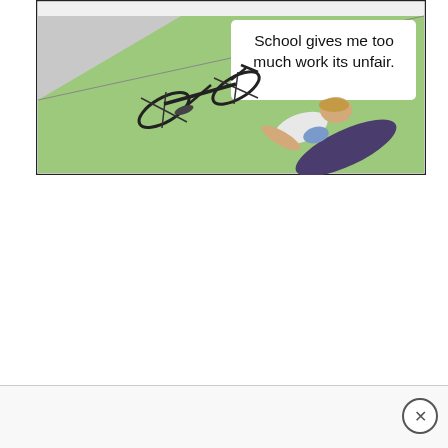[Figure (illustration): Comic panel showing a top-down view of a person who has fallen off their bicycle. The scene is split diagonally between a gray sidewalk/pavement area and a green grass area. A bicycle lies on its side near the person who is sprawled on the ground. A speech bubble in the upper right reads: 'School gives me too much work its unfair.']